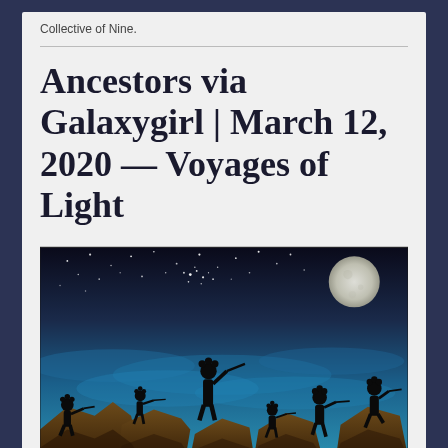Collective of Nine.
Ancestors via Galaxygirl | March 12, 2020 — Voyages of Light
[Figure (illustration): Silhouettes of Kokopelli-like figures playing flutes on rocky cliffs under a night sky with stars and a full moon. The background transitions from dark navy at the top to bright blue and teal lower, with swirling cloud-like forms. Six black silhouette figures in various poses are standing on brown rocky outcroppings.]